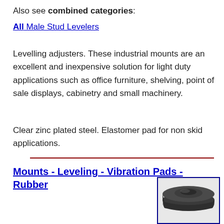Also see combined categories:
All Male Stud Levelers
Levelling adjusters. These industrial mounts are an excellent and inexpensive solution for light duty applications such as office furniture, shelving, point of sale displays, cabinetry and small machinery.
Clear zinc plated steel. Elastomer pad for non skid applications.
Mounts - Leveling - Vibration Pads - Rubber
[Figure (photo): Black rubber leveling mount / vibration pad with a recessed center hole, shown from above at slight angle, inside a blue-bordered box.]